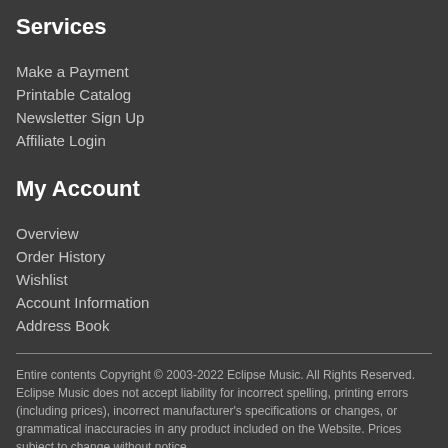Services
Make a Payment
Printable Catalog
Newsletter Sign Up
Affiliate Login
My Account
Overview
Order History
Wishlist
Account Information
Address Book
Entire contents Copyright © 2003-2022 Eclipse Music. All Rights Reserved. Eclipse Music does not accept liability for incorrect spelling, printing errors (including prices), incorrect manufacturer's specifications or changes, or grammatical inaccuracies in any product included on the Website. Prices subject to change without notice.

Powered by Pro-Active Commerce